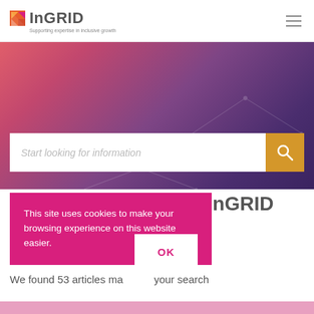[Figure (logo): InGRID logo with orange/red square icon and text 'InGRID' with tagline 'Supporting expertise in inclusive growth']
[Figure (screenshot): Hero banner with gradient background (pink to purple) containing a search bar with placeholder 'Start looking for information' and orange search button]
You're searching the InGRID Portal...
This site uses cookies to make your browsing experience on this website easier.
We found 53 articles matching your search